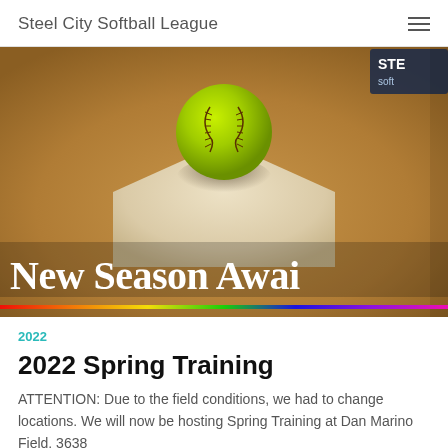Steel City Softball League
[Figure (photo): A yellow-green softball resting on a home plate with sandy dirt field background. Text overlay reads 'New Season Awai' (truncated). A logo badge reading 'STE' and 'soft' is visible in the top-right corner.]
2022
2022 Spring Training
ATTENTION: Due to the field conditions, we had to change locations. We will now be hosting Spring Training at Dan Marino Field, 3638